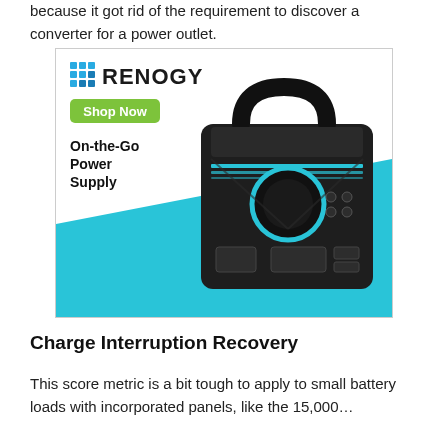because it got rid of the requirement to discover a converter for a power outlet.
[Figure (photo): Renogy advertisement showing a portable power station (On-the-Go Power Supply) with Renogy logo, Shop Now button, and teal/cyan diagonal background. The device is a dark-colored boxy battery unit with a handle, display panel, and multiple ports.]
Charge Interruption Recovery
This score metric is a bit tough to apply to small battery loads with incorporated panels, like the 15,000…